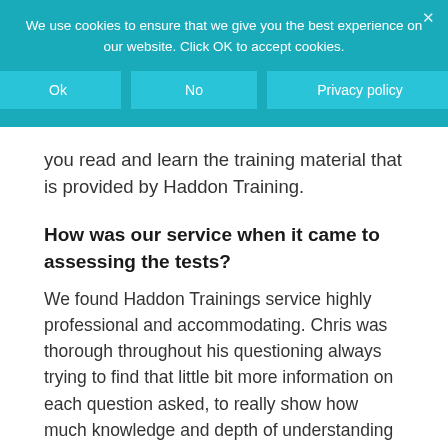We use cookies to ensure that we give you the best experience on our website. Click OK to accept cookies.
you read and learn the training material that is provided by Haddon Training.
How was our service when it came to assessing the tests?
We found Haddon Trainings service highly professional and accommodating. Chris was thorough throughout his questioning always trying to find that little bit more information on each question asked, to really show how much knowledge and depth of understanding us as candidates had.
The other factor that worked so well for us was that